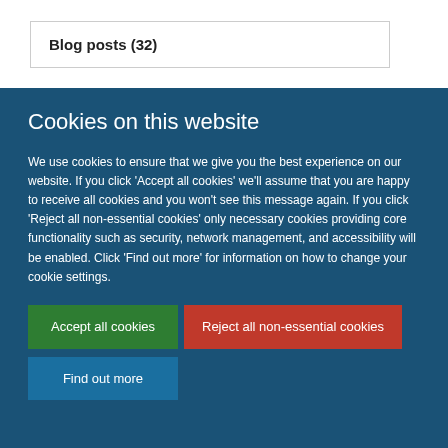Blog posts (32)
Cookies on this website
We use cookies to ensure that we give you the best experience on our website. If you click 'Accept all cookies' we'll assume that you are happy to receive all cookies and you won't see this message again. If you click 'Reject all non-essential cookies' only necessary cookies providing core functionality such as security, network management, and accessibility will be enabled. Click 'Find out more' for information on how to change your cookie settings.
Accept all cookies
Reject all non-essential cookies
Find out more